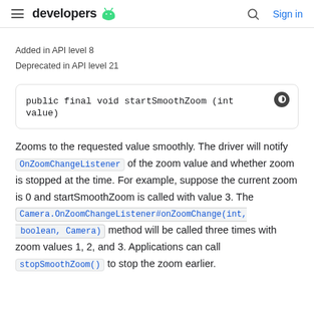developers
Added in API level 8
Deprecated in API level 21
public final void startSmoothZoom (int value)
Zooms to the requested value smoothly. The driver will notify OnZoomChangeListener of the zoom value and whether zoom is stopped at the time. For example, suppose the current zoom is 0 and startSmoothZoom is called with value 3. The Camera.OnZoomChangeListener#onZoomChange(int, boolean, Camera) method will be called three times with zoom values 1, 2, and 3. Applications can call stopSmoothZoom() to stop the zoom earlier.